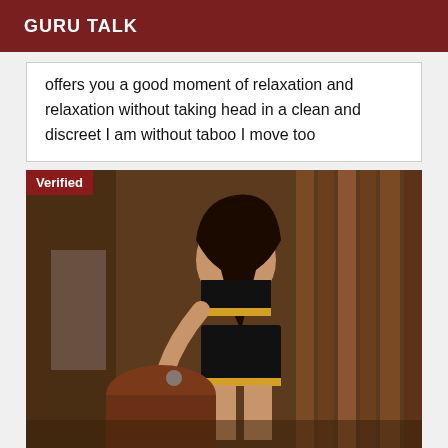GURU TALK
offers you a good moment of relaxation and relaxation without taking head in a clean and discreet I am without taboo I move too
[Figure (photo): A woman wearing a black and yellow outfit posing in a wooden interior setting. A 'Verified' badge appears in the top-left corner of the image.]